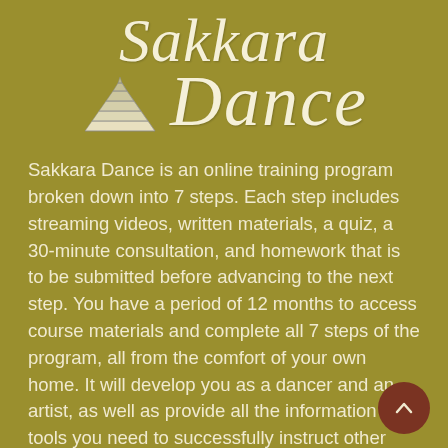Sakkara Dance
[Figure (illustration): Small stepped pyramid illustration in line-art style, resembling the Pyramid of Sakkara, drawn in white/light color on the olive-gold background.]
Sakkara Dance is an online training program broken down into 7 steps. Each step includes streaming videos, written materials, a quiz, a 30-minute consultation, and homework that is to be submitted before advancing to the next step. You have a period of 12 months to access course materials and complete all 7 steps of the program, all from the comfort of your own home. It will develop you as a dancer and an artist, as well as provide all the information and tools you need to successfully instruct other dancers, from